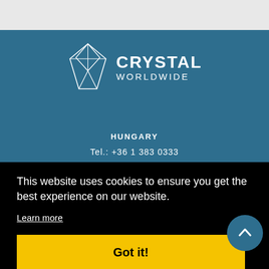[Figure (logo): Crystal Worldwide logo with geometric diamond/crystal shape outline in white and bold text CRYSTAL WORLDWIDE]
HUNGARY
Tel.: +36 1 383 0333
This website uses cookies to ensure you get the best experience on our website.
Learn more
Got it!
Tel.: +356 21 228 158